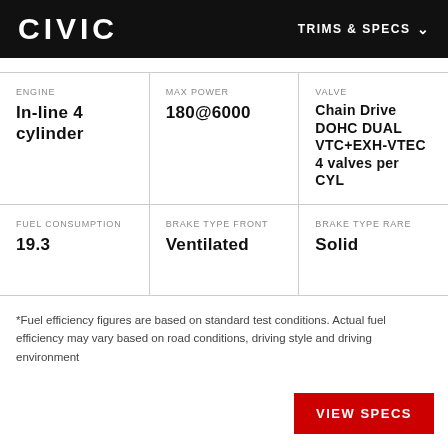CIVIC   TRIMS & SPECS
ENGINE
In-line 4 cylinder
MAX POWER
180@6000
VALVE
Chain Drive DOHC DUAL VTC+EXH-VTEC 4 valves per CYL
FUEL CONSUMPTION
19.3
BRAKE TYPE FRONT
Ventilated
BRAKE TYPE RARE
Solid
*Fuel efficiency figures are based on standard test conditions. Actual fuel efficiency may vary based on road conditions, driving style and driving environment
VIEW SPECS